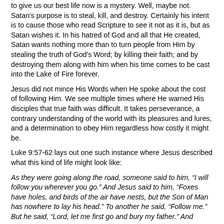to give us our best life now is a mystery.  Well, maybe not.  Satan's purpose is to steal, kill, and destroy.  Certainly his intent is to cause those who read Scripture to see it not as it is, but as Satan wishes it.  In his hatred of God and all that He created, Satan wants nothing more than to turn people from Him by stealing the truth of God's Word; by killing their faith; and by destroying them along with him when his time comes to be cast into the Lake of Fire forever.
Jesus did not mince His Words when He spoke about the cost of following Him.  We see multiple times where He warned His disciples that true faith was difficult.  It takes perseverance, a contrary understanding of the world with its pleasures and lures, and a determination to obey Him regardless how costly it might be.
Luke 9:57-62 lays out one such instance where Jesus described what this kind of life might look like:
As they were going along the road, someone said to him, “I will follow you wherever you go.” And Jesus said to him, “Foxes have holes, and birds of the air have nests, but the Son of Man has nowhere to lay his head.” To another he said, “Follow me.” But he said, “Lord, let me first go and bury my father.” And